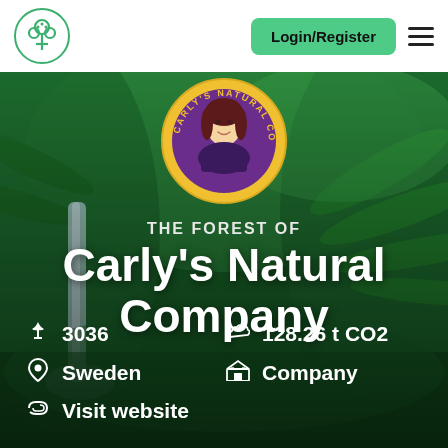[Figure (logo): Green tree logo in circle outline, teal/green color]
Login/Register
[Figure (photo): Lush tropical rainforest with waterfall and green ferns as hero background]
[Figure (logo): Carly's Natural Company circular badge logo with woman portrait illustration in purple and yellow]
THE FOREST OF
Carly's Natural Company
🌿 3036
☁ 128.26 t CO2
📍 Sweden
🏛 Company
🔗 Visit website